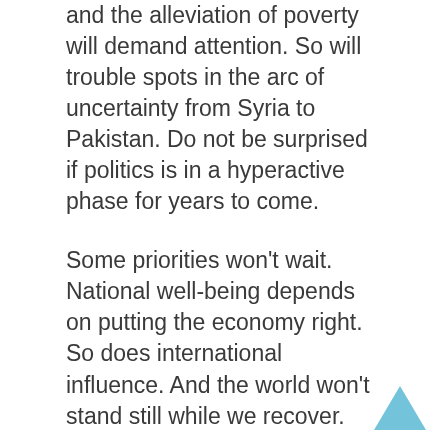and the alleviation of poverty will demand attention. So will trouble spots in the arc of uncertainty from Syria to Pakistan. Do not be surprised if politics is in a hyperactive phase for years to come.
Some priorities won’t wait. National well-being depends on putting the economy right. So does international influence. And the world won’t stand still while we recover.
Governments can’t create wealth. The private sector can. To help them, the Coalition need, within this Parliament, to offer certainty in the tax and regulatory regime. Revisit employment law to create jobs. Lower taxes, and remove obstacles to growth. Tone of voice matters, too: the Government must promote success, and condemn the sour envy and resentment that so often derides